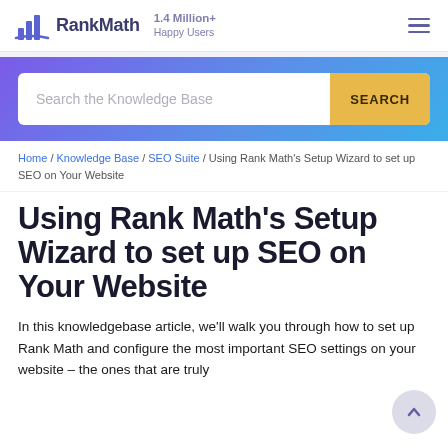RankMath | 1.4 Million+ Happy Users
[Figure (screenshot): Search the Knowledge Base input with SEARCH button]
Home / Knowledge Base / SEO Suite / Using Rank Math's Setup Wizard to set up SEO on Your Website
Using Rank Math's Setup Wizard to set up SEO on Your Website
In this knowledgebase article, we'll walk you through how to set up Rank Math and configure the most important SEO settings on your website – the ones that are truly